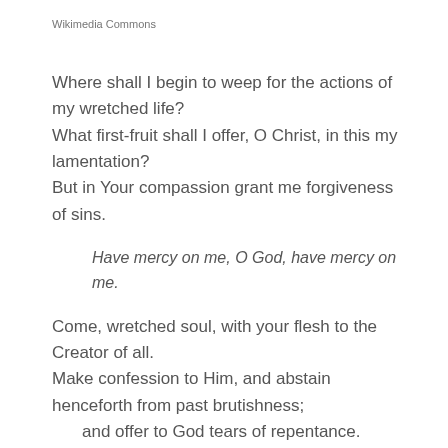Wikimedia Commons
Where shall I begin to weep for the actions of my wretched life?
What first-fruit shall I offer, O Christ, in this my lamentation?
But in Your compassion grant me forgiveness of sins.
Have mercy on me, O God, have mercy on me.
Come, wretched soul, with your flesh to the Creator of all.
Make confession to Him, and abstain henceforth from past brutishness;
    and offer to God tears of repentance.